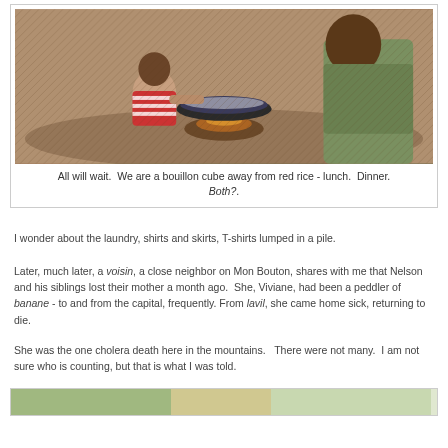[Figure (photo): Photo of two children around an open fire cooking pot, one child in striped shirt reaching toward the cooking vessel]
All will wait.  We are a bouillon cube away from red rice - lunch.  Dinner.  Both?.
I wonder about the laundry, shirts and skirts, T-shirts lumped in a pile.
Later, much later, a voisin, a close neighbor on Mon Bouton, shares with me that Nelson and his siblings lost their mother a month ago.  She, Viviane, had been a peddler of banane - to and from the capital, frequently. From lavil, she came home sick, returning to die.
She was the one cholera death here in the mountains.   There were not many.  I am not sure who is counting, but that is what I was told.
[Figure (photo): Partial view of another photo at the bottom of the page]